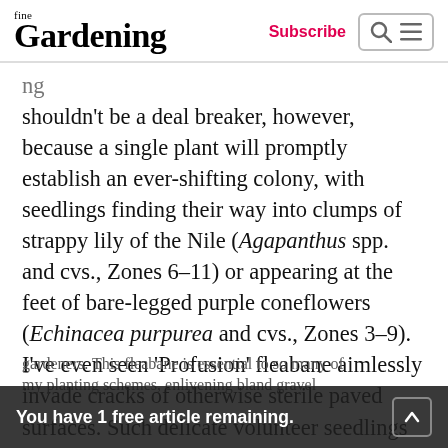fine Gardening — Subscribe
shouldn't be a deal breaker, however, because a single plant will promptly establish an ever-shifting colony, with seedlings finding their way into clumps of strappy lily of the Nile (Agapanthus spp. and cvs., Zones 6–11) or appearing at the feet of bare-legged purple coneflowers (Echinacea purpurea and cvs., Zones 3–9). I've even seen 'Profusion' fleabane aimlessly invade cracks of otherwise sterile paved surfaces. Such delicate volunteer seedlings will never bother anybody but the smallest rock-garden plants and, maybe, the most controlling of
You have 1 free article remaining.